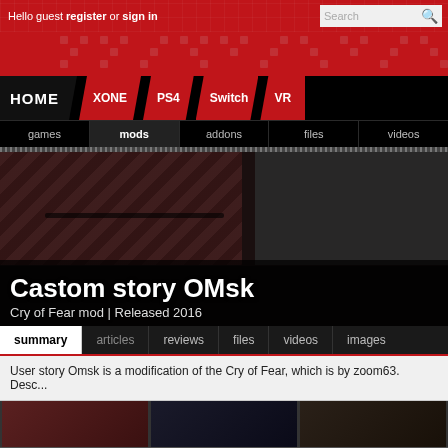Hello guest register or sign in  [Search]
[Figure (screenshot): Navigation bar with HOME, XONE, PS4, Switch, VR tabs and sub-tabs: games, mods, addons, files, videos]
[Figure (photo): Game banner image for Castom story OMsk — dark interior scene]
Castom story OMsk
Cry of Fear mod | Released 2016
summary | articles | reviews | files | videos | images
User story Omsk is a modification of the Cry of Fear, which is by zoom63. Desc...